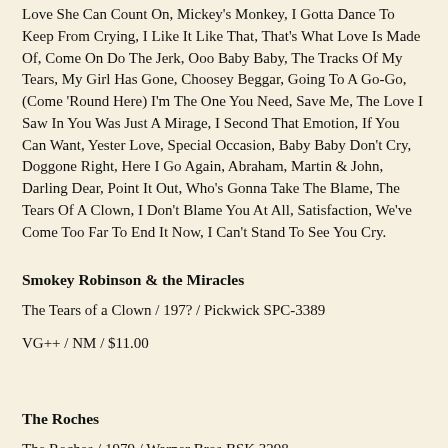Love She Can Count On, Mickey's Monkey, I Gotta Dance To Keep From Crying, I Like It Like That, That's What Love Is Made Of, Come On Do The Jerk, Ooo Baby Baby, The Tracks Of My Tears, My Girl Has Gone, Choosey Beggar, Going To A Go-Go, (Come 'Round Here) I'm The One You Need, Save Me, The Love I Saw In You Was Just A Mirage, I Second That Emotion, If You Can Want, Yester Love, Special Occasion, Baby Baby Don't Cry, Doggone Right, Here I Go Again, Abraham, Martin & John, Darling Dear, Point It Out, Who's Gonna Take The Blame, The Tears Of A Clown, I Don't Blame You At All, Satisfaction, We've Come Too Far To End It Now, I Can't Stand To See You Cry.
Smokey Robinson & the Miracles
The Tears of a Clown / 197? / Pickwick SPC-3389
VG++ / NM / $11.00
The Roches
The Roches / 1979 / Warner Bros BSK 3298